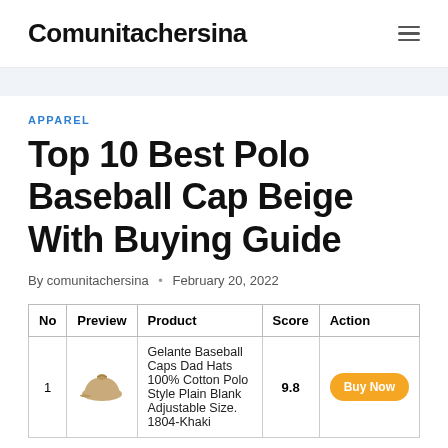Comunitachersina
APPAREL
Top 10 Best Polo Baseball Cap Beige With Buying Guide
By comunitachersina • February 20, 2022
| No | Preview | Product | Score | Action |
| --- | --- | --- | --- | --- |
| 1 | [cap image] | Gelante Baseball Caps Dad Hats 100% Cotton Polo Style Plain Blank Adjustable Size. 1804-Khaki | 9.8 | Buy Now |